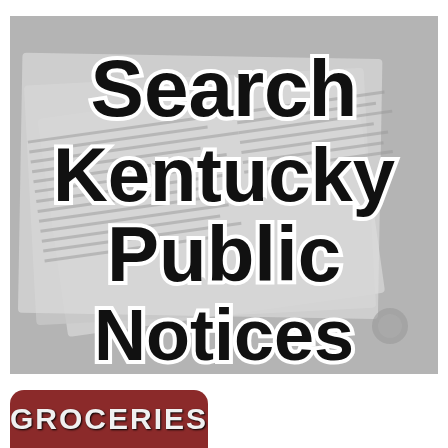[Figure (illustration): Blurred newspaper background image with large bold text overlay reading 'Search Kentucky Public Notices' in black Impact-style font with white outline/stroke]
[Figure (illustration): Dark red rounded rectangle button labeled 'GROCERIES' in white bold capital letters, partially visible at bottom of page]